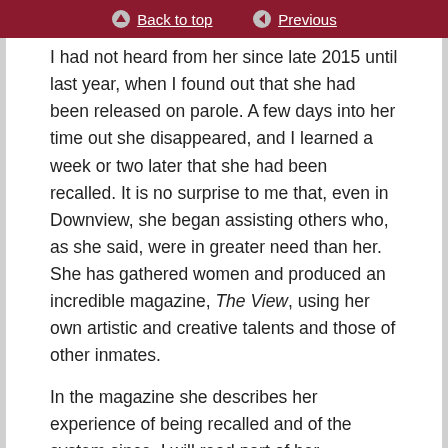Back to top | Previous
I had not heard from her since late 2015 until last year, when I found out that she had been released on parole. A few days into her time out she disappeared, and I learned a week or two later that she had been recalled. It is no surprise to me that, even in Downview, she began assisting others who, as she said, were in greater need than her. She has gathered women and produced an incredible magazine, The View, using her own artistic and creative talents and those of other inmates.
In the magazine she describes her experience of being recalled and of the system since. I will read part of her comments. She says:
“I have been recalled because I dared to tweet about how appalling NRSL Hammersmith were. I am